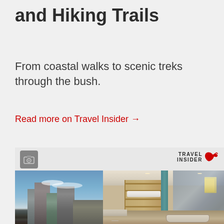and Hiking Trails
From coastal walks to scenic treks through the bush.
Read more on Travel Insider →
[Figure (photo): Hotel bathroom interior with city skyline view through large window, featuring a bathtub, vanity basin, mirrored walls, and shelving unit with towels. Travel Insider logo visible in top right corner.]